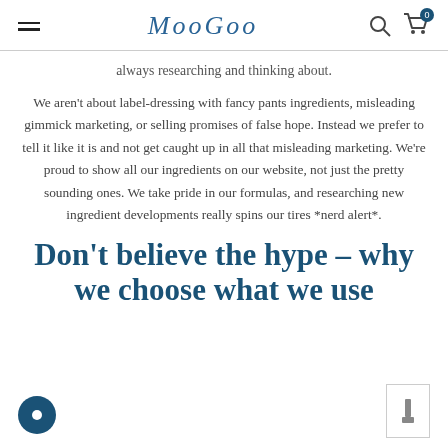MooGoo
always researching and thinking about.
We aren't about label-dressing with fancy pants ingredients, misleading gimmick marketing, or selling promises of false hope. Instead we prefer to tell it like it is and not get caught up in all that misleading marketing. We're proud to show all our ingredients on our website, not just the pretty sounding ones. We take pride in our formulas, and researching new ingredient developments really spins our tires *nerd alert*.
Don't believe the hype – why we choose what we use